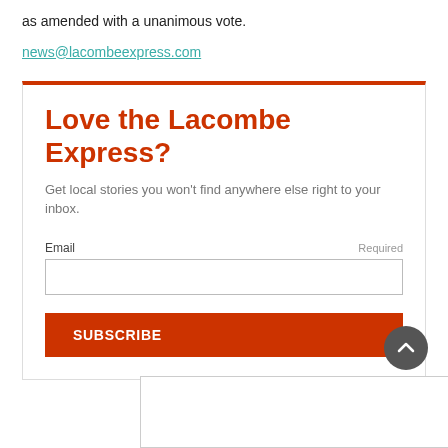as amended with a unanimous vote.
news@lacombeexpress.com
Love the Lacombe Express?
Get local stories you won't find anywhere else right to your inbox.
Email  Required
SUBSCRIBE
[Figure (other): Advertisement box placeholder at bottom of page]